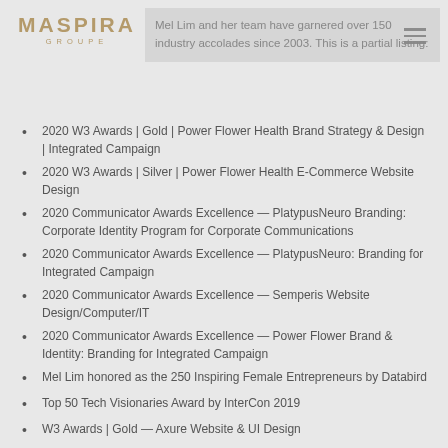Maspira Groupe
Mel Lim and her team have garnered over 150 industry accolades since 2003. This is a partial listing:
2020 W3 Awards | Gold | Power Flower Health Brand Strategy & Design | Integrated Campaign
2020 W3 Awards | Silver | Power Flower Health E-Commerce Website Design
2020 Communicator Awards Excellence — PlatypusNeuro Branding: Corporate Identity Program for Corporate Communications
2020 Communicator Awards Excellence — PlatypusNeuro: Branding for Integrated Campaign
2020 Communicator Awards Excellence — Semperis Website Design/Computer/IT
2020 Communicator Awards Excellence — Power Flower Brand & Identity: Branding for Integrated Campaign
Mel Lim honored as the 250 Inspiring Female Entrepreneurs by Databird
Top 50 Tech Visionaries Award by InterCon 2019
W3 Awards | Gold — Axure Website & UI Design
W3 Awards | Silver — Varonis Insider Threat